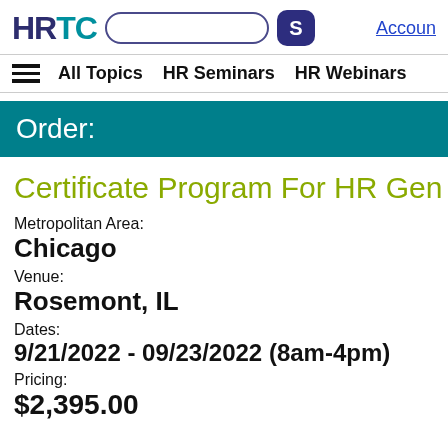HRTC [search box] S Account
≡ All Topics  HR Seminars  HR Webinars
Order:
Certificate Program For HR Gen
Metropolitan Area:
Chicago
Venue:
Rosemont, IL
Dates:
9/21/2022 - 09/23/2022 (8am-4pm)
Pricing:
$2,395.00